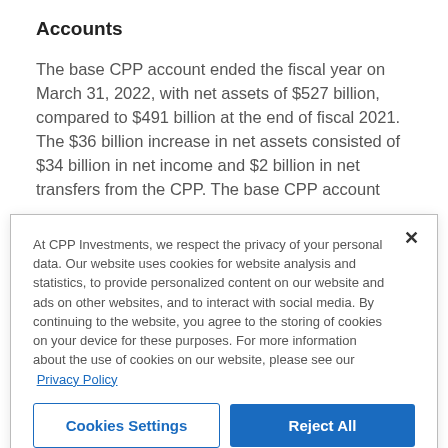Accounts
The base CPP account ended the fiscal year on March 31, 2022, with net assets of $527 billion, compared to $491 billion at the end of fiscal 2021. The $36 billion increase in net assets consisted of $34 billion in net income and $2 billion in net transfers from the CPP. The base CPP account
At CPP Investments, we respect the privacy of your personal data. Our website uses cookies for website analysis and statistics, to provide personalized content on our website and ads on other websites, and to interact with social media. By continuing to the website, you agree to the storing of cookies on your device for these purposes. For more information about the use of cookies on our website, please see our Privacy Policy
Cookies Settings
Reject All